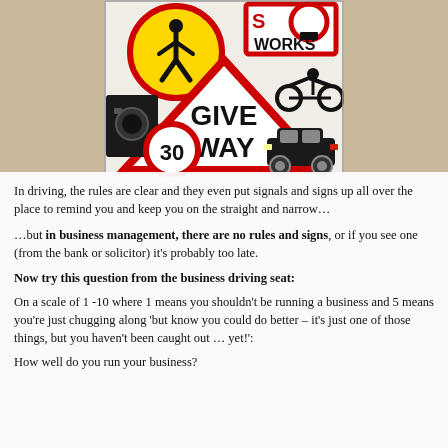[Figure (illustration): Collage of UK road signs including a pedestrian crossing sign (yellow circle with walking figure), a WORKS sign, a GIVE WAY triangle sign, a speed camera sign, a 30mph sign, a motorbike sign, and a car silhouette]
In driving, the rules are clear and they even put signals and signs up all over the place to remind you and keep you on the straight and narrow…
…but in business management, there are no rules and signs, or if you see one (from the bank or solicitor) it's probably too late.
Now try this question from the business driving seat:
On a scale of 1 -10 where 1 means you shouldn't be running a business and 5 means you're just chugging along 'but know you could do better – it's just one of those things, but you haven't been caught out … yet!':
How well do you run your business?